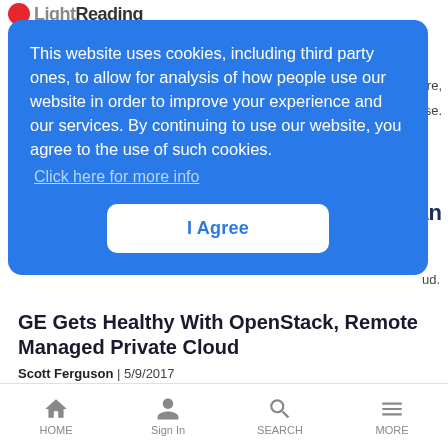Light Reading
This website uses cookies, including third party ones, to allow for analysis of how people use our website in order to improve your experience and our services. By continuing to use our website, you agree to the use of such cookies. Click here for more info
I Agree
GE Gets Healthy With OpenStack, Remote Managed Private Cloud
Scott Ferguson | 5/9/2017
GE is using a combination of OpenStack and a new service called remote managed private cloud to help the company with healthcare.
HOME  Sign In  SEARCH  MORE